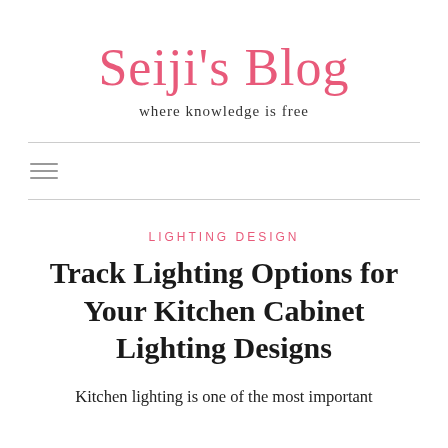Seiji's Blog — where knowledge is free
LIGHTING DESIGN
Track Lighting Options for Your Kitchen Cabinet Lighting Designs
Kitchen lighting is one of the most important